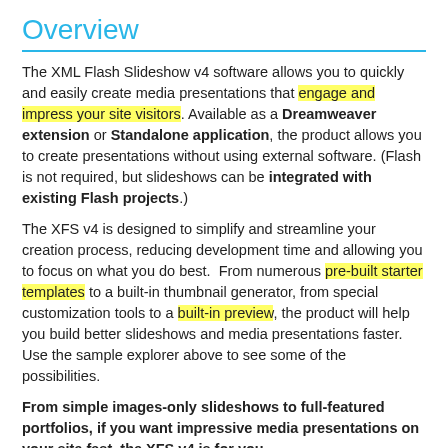Overview
The XML Flash Slideshow v4 software allows you to quickly and easily create media presentations that engage and impress your site visitors. Available as a Dreamweaver extension or Standalone application, the product allows you to create presentations without using external software. (Flash is not required, but slideshows can be integrated with existing Flash projects.)
The XFS v4 is designed to simplify and streamline your creation process, reducing development time and allowing you to focus on what you do best.  From numerous pre-built starter templates to a built-in thumbnail generator, from special customization tools to a built-in preview, the product will help you build better slideshows and media presentations faster.  Use the sample explorer above to see some of the possibilities.
From simple images-only slideshows to full-featured portfolios, if you want impressive media presentations on your site fast, the XFS v4 is for you.
Purchase Now »   Upgrade Now »